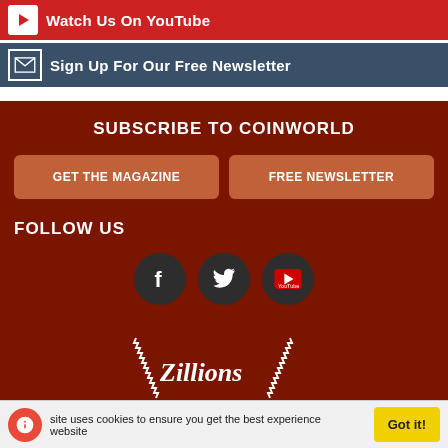[Figure (screenshot): YouTube red bar with play icon and text 'Watch Us On YouTube']
[Figure (screenshot): Dark blue bar with envelope icon and text 'Sign Up For Our Free Newsletter']
SUBSCRIBE TO COINWORLD
GET THE MAGAZINE
FREE NEWSLETTER
FOLLOW US
[Figure (infographic): Three social media icons: Facebook, Twitter, YouTube in dark circles]
[Figure (logo): Zillions of Stamps logo - partial, with decorative serrated border]
site uses cookies to ensure you get the best experience website
Got it!